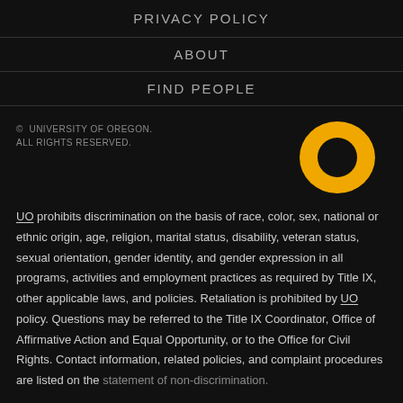PRIVACY POLICY
ABOUT
FIND PEOPLE
© UNIVERSITY OF OREGON.
ALL RIGHTS RESERVED.
[Figure (logo): University of Oregon logo — a bold golden/yellow letter O on black background]
UO prohibits discrimination on the basis of race, color, sex, national or ethnic origin, age, religion, marital status, disability, veteran status, sexual orientation, gender identity, and gender expression in all programs, activities and employment practices as required by Title IX, other applicable laws, and policies. Retaliation is prohibited by UO policy. Questions may be referred to the Title IX Coordinator, Office of Affirmative Action and Equal Opportunity, or to the Office for Civil Rights. Contact information, related policies, and complaint procedures are listed on the statement of non-discrimination.